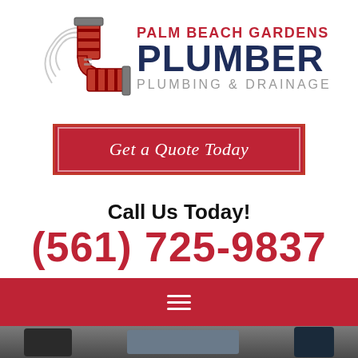[Figure (logo): Palm Beach Gardens Plumber logo with red pipe fitting icon and text: PALM BEACH GARDENS PLUMBER PLUMBING & DRAINAGE]
Get a Quote Today
Call Us Today!
(561) 725-9837
[Figure (other): Red navigation bar with hamburger menu icon]
[Figure (photo): Blurred photo of plumber at work, bottom portion visible]